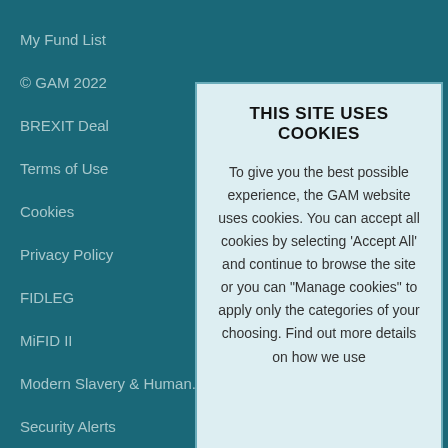My Fund List
© GAM 2022
BREXIT Deal
Terms of Use
Cookies
Privacy Policy
FIDLEG
MiFID II
Modern Slavery & Human...
Security Alerts
THIS SITE USES COOKIES
To give you the best possible experience, the GAM website uses cookies. You can accept all cookies by selecting 'Accept All' and continue to browse the site or you can "Manage cookies" to apply only the categories of your choosing. Find out more details on how we use